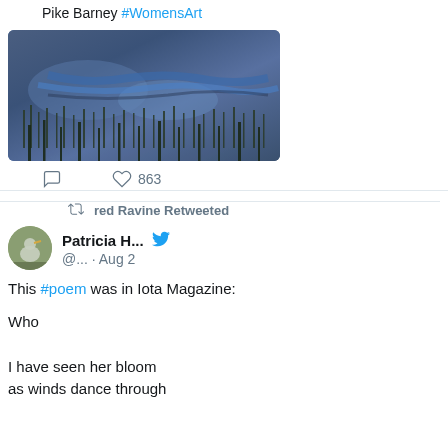Pike Barney #WomensArt
[Figure (photo): A painting of a wetland/marsh scene with blues and teals, showing water, reeds/grasses, in an impressionistic style]
863 likes
red Ravine Retweeted
Patricia H... @... · Aug 2
This #poem was in Iota Magazine:

Who

I have seen her bloom
as winds dance through